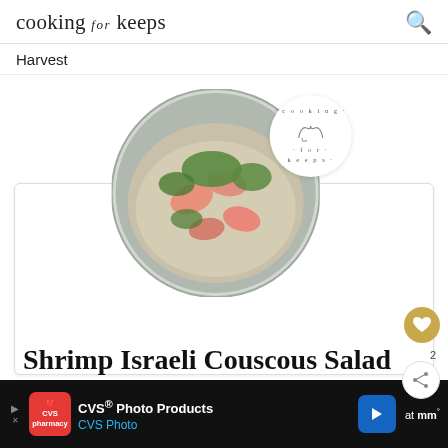cooking for keeps
Harvest
[Figure (photo): Overhead view of a bowl of shrimp Israeli couscous salad with herbs, with a circular Cooking for Keeps brand watermark logo overlay]
Shrimp Israeli Couscous Salad
[Figure (infographic): CVS Photo Products advertisement banner with CVS Pharmacy logo, navigation arrow icon, and partial text on right side]